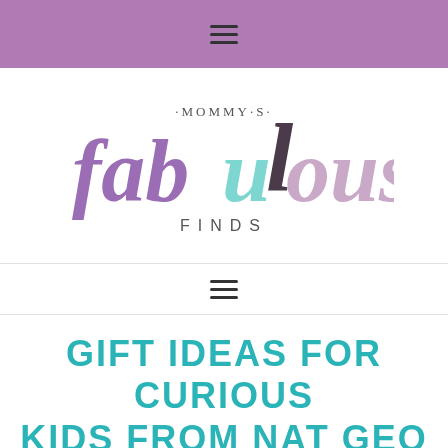≡ (hamburger menu icon)
[Figure (logo): Mommy's Fabulous Finds logo — stylized colorful lowercase text 'fabulous' with 'MOMMY'S' arched above and 'FINDS' below. Colors: purple 'fab', teal 'u', dark brown 'l', pink/mauve 'ous'. The 'l' is tall and dark, serving as a vertical divider.]
≡ (hamburger menu icon)
GIFT IDEAS FOR CURIOUS KIDS FROM NAT GEO KIDS BOOKS